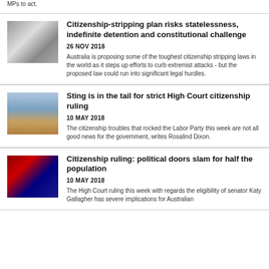MPs to act.
Citizenship-stripping plan risks statelessness, indefinite detention and constitutional challenge
26 NOV 2018
Australia is proposing some of the toughest citizenship stripping laws in the world as it steps up efforts to curb extremist attacks - but the proposed law could run into significant legal hurdles.
Sting is in the tail for strict High Court citizenship ruling
10 MAY 2018
The citizenship troubles that rocked the Labor Party this week are not all good news for the government, writes Rosalind Dixon.
Citizenship ruling: political doors slam for half the population
10 MAY 2018
The High Court ruling this week with regards the eligibility of senator Katy Gallagher has severe implications for Australian